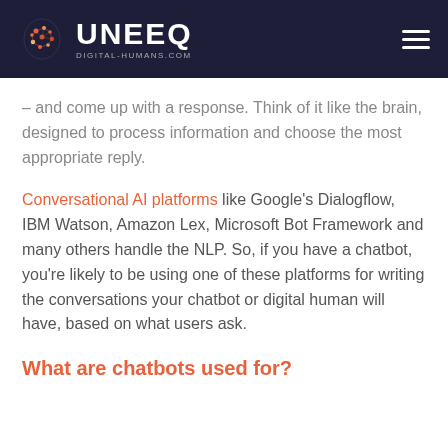UNEEQ DIGITAL-HUMANS.COM
– and come up with a response. Think of it like the brain, designed to process information and choose the most appropriate reply.
Conversational AI platforms like Google's Dialogflow, IBM Watson, Amazon Lex, Microsoft Bot Framework and many others handle the NLP. So, if you have a chatbot, you're likely to be using one of these platforms for writing the conversations your chatbot or digital human will have, based on what users ask.
What are chatbots used for?